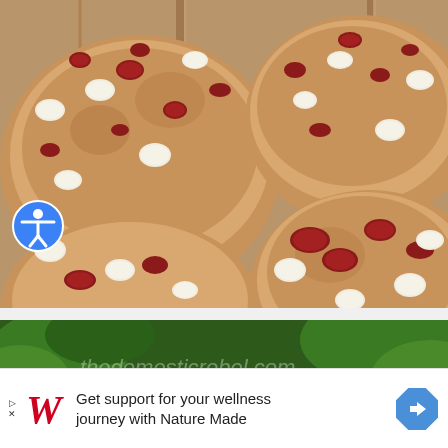[Figure (photo): Top-down view of several large cookies with white chocolate chips and dried cranberries on a wooden surface. Cookies appear golden-brown and chewy.]
[Figure (photo): Partial view of a food photo from thedomesticrebel.com showing what appears to be a dessert with white chocolate and red fruits/berries, with green foliage in the background.]
Get support for your wellness journey with Nature Made